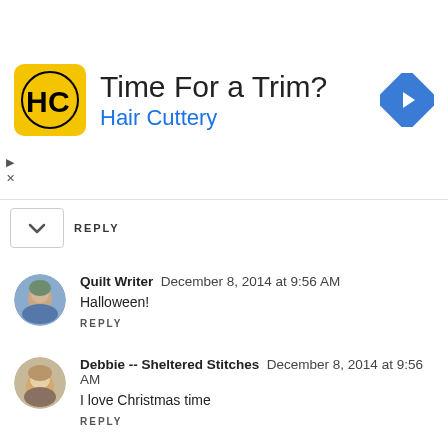[Figure (other): Hair Cuttery advertisement banner with logo, 'Time For a Trim?' headline, 'Hair Cuttery' subtext in blue, and a blue diamond navigation arrow icon]
REPLY
Quilt Writer  December 8, 2014 at 9:56 AM
Halloween!
REPLY
Debbie -- Sheltered Stitches  December 8, 2014 at 9:56 AM
I love Christmas time
REPLY
Debbie -- Sheltered Stitches  December 8, 2014 at 9:58 AM
I follow yiu with Feedly!